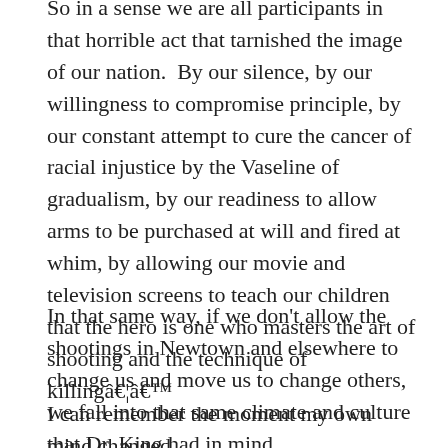So in a sense we are all participants in that horrible act that tarnished the image of our nation. By our silence, by our willingness to compromise principle, by our constant attempt to cure the cancer of racial injustice by the Vaseline of gradualism, by our readiness to allow arms to be purchased at will and fired at whim, by allowing our movie and television screens to teach our children that the hero is one who masters the art of shooting and the technique of killingâ€¦â€™
In that same way, if we don't allow the shootings in Newtown and elsewhere to change us and move us to change others, we fall into that same climate and culture that Dr. King had in mind.
I can remember the moment my own mind changed